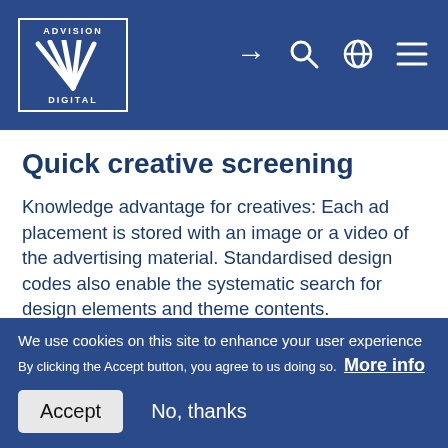ADVISION DIGITAL — header with logo and navigation icons
Quick creative screening
Knowledge advantage for creatives: Each ad placement is stored with an image or a video of the advertising material. Standardised design codes also enable the systematic search for design elements and theme contents.
We use cookies on this site to enhance your user experience
By clicking the Accept button, you agree to us doing so. More info
Accept   No, thanks